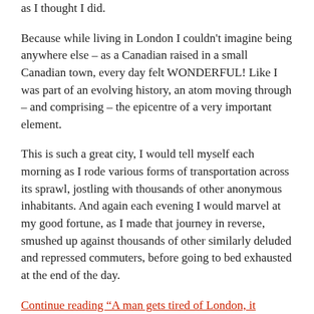as I thought I did.
Because while living in London I couldn't imagine being anywhere else – as a Canadian raised in a small Canadian town, every day felt WONDERFUL! Like I was part of an evolving history, an atom moving through – and comprising – the epicentre of a very important element.
This is such a great city, I would tell myself each morning as I rode various forms of transportation across its sprawl, jostling with thousands of other anonymous inhabitants. And again each evening I would marvel at my good fortune, as I made that journey in reverse, smushed up against thousands of other similarly deluded and repressed commuters, before going to bed exhausted at the end of the day.
Continue reading “A man gets tired of London, it happens” on Honest London